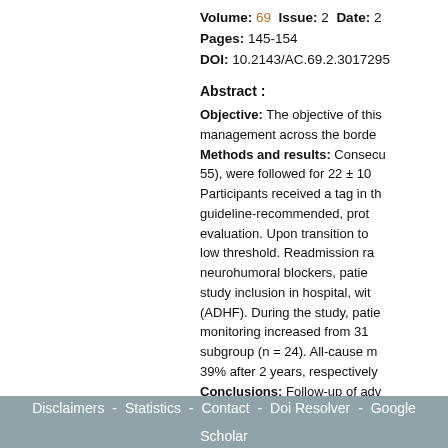Volume: 69  Issue: 2  Date: 2[...]  Pages: 145-154  DOI: 10.2143/AC.69.2.3017295
Abstract :
Objective: The objective of this [...] management across the borde[...]
Methods and results: Consecu[...] 55), were followed for 22 ± 10 [...] Participants received a tag in th[...] guideline-recommended, prot[...] evaluation. Upon transition to [...] low threshold. Readmission ra[...] neurohumoral blockers, patie[...] study inclusion in hospital, wit[...] (ADHF). During the study, patie[...] monitoring increased from 31[...] subgroup (n = 24). All-cause m[...] 39% after 2 years, respectively[...]
Conclusions: Follow-up of adv[...] with favourable clinical outcom[...]
Disclaimers - Statistics - Contact - Doi Resolver - Google Scholar